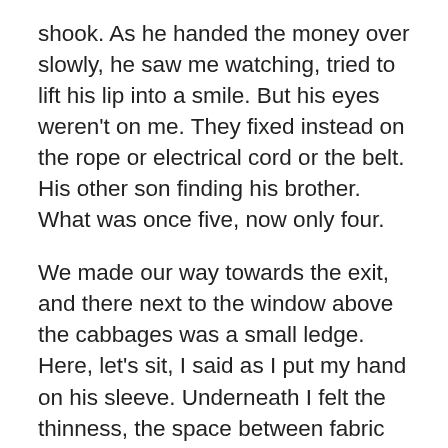shook. As he handed the money over slowly, he saw me watching, tried to lift his lip into a smile. But his eyes weren't on me. They fixed instead on the rope or electrical cord or the belt. His other son finding his brother. What was once five, now only four.
We made our way towards the exit, and there next to the window above the cabbages was a small ledge. Here, let's sit, I said as I put my hand on his sleeve. Underneath I felt the thinness, the space between fabric and flesh. Up close, the lines in his face ran deep. My own gauntness hid under my thick sweater. I wanted to pull it up, point at my ribs, say this is why I couldn't go to the church. Tell him I tried. Say but the quicksand found me. It'd been a year. I'd never even sent the card that I'd put in my backpack, now crumpled and torn. I had it with me. I could just give it